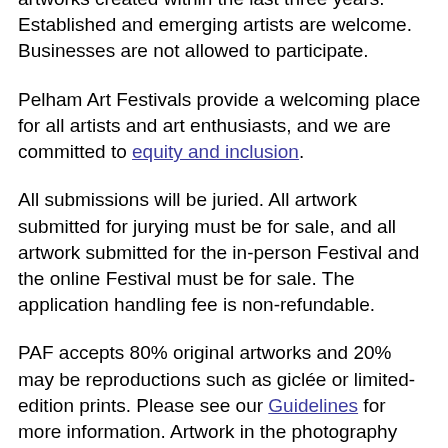artworks created within the last three years. Established and emerging artists are welcome. Businesses are not allowed to participate.
Pelham Art Festivals provide a welcoming place for all artists and art enthusiasts, and we are committed to equity and inclusion.
All submissions will be juried. All artwork submitted for jurying must be for sale, and all artwork submitted for the in-person Festival and the online Festival must be for sale. The application handling fee is non-refundable.
PAF accepts 80% original artworks and 20% may be reproductions such as giclée or limited-edition prints. Please see our Guidelines for more information. Artwork in the photography category must